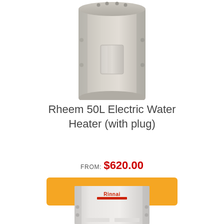[Figure (photo): Rheem 50L electric water heater tank, cylindrical pale grey unit with a white rectangular access panel on the front and small circular ports around the body, viewed from above/front angle, cropped at top]
Rheem 50L Electric Water Heater (with plug)
FROM: $620.00
More Info
[Figure (photo): Rinnai electric water heater tank, white rectangular/cylindrical unit with Rinnai logo on upper front, small circular ports on sides, partially visible at bottom of page]